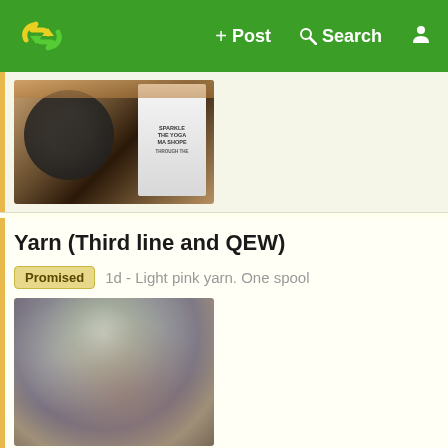+ Post  Q Search  [user icon]
[Figure (photo): Partial view of a listing showing a dark object (possibly a teapot or similar item) in a box, with a white label/paper next to it]
Yarn (Third line and QEW)
Promised  1d - Light pink yarn. One spool
[Figure (photo): Blurry/out-of-focus photo of a spool of light pink yarn, showing a muted grayish-pink gradient blur]